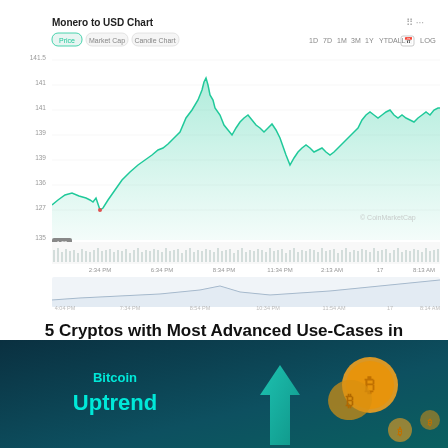[Figure (continuous-plot): Monero to USD Chart from CoinMarketCap showing price movement over time, with a line/area chart in teal/green. Y-axis shows values from ~127 to 141+. X-axis shows time labels including 2:34 PM, 6:34 PM, 8:34 PM, 11:34 PM, 2:13 AM, 17, 8:13 AM. Control buttons: 1D, 7D, 1M, 3M, 1Y, YTD, ALL, calendar, LOG. Tab buttons: Price, Market Cap, Candle Chart. Volume bars at bottom. A smaller navigator/overview chart below. CoinMarketCap watermark visible.]
5 Cryptos with Most Advanced Use-Cases in 2022
July 17, 2022
[Figure (illustration): Dark teal background image showing a 3D upward arrow in teal/cyan, Bitcoin gold coins, and text 'Bitcoin Uptrend' in cyan bold letters on the left side.]